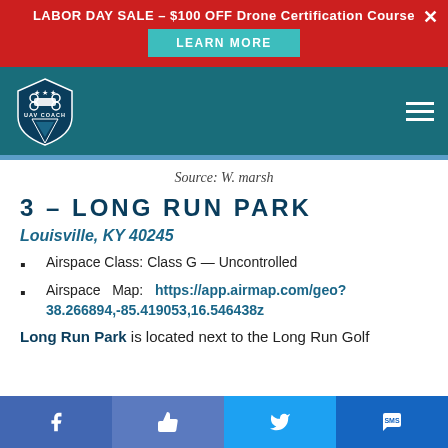LABOR DAY SALE - $100 OFF Drone Certification Course | LEARN MORE
[Figure (logo): UAV Coach logo on teal navigation bar with hamburger menu]
Source: W. marsh
3 — LONG RUN PARK
Louisville, KY 40245
Airspace Class: Class G — Uncontrolled
Airspace Map: https://app.airmap.com/geo?38.266894,-85.419053,16.546438z
Long Run Park is located next to the Long Run Golf
Facebook | Like | Twitter | Message